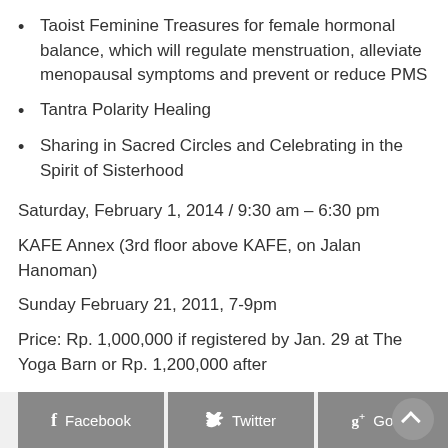Taoist Feminine Treasures for female hormonal balance, which will regulate menstruation, alleviate menopausal symptoms and prevent or reduce PMS
Tantra Polarity Healing
Sharing in Sacred Circles and Celebrating in the Spirit of Sisterhood
Saturday, February 1, 2014 / 9:30 am – 6:30 pm
KAFE Annex (3rd floor above KAFE, on Jalan Hanoman)
Sunday February 21, 2011, 7-9pm
Price: Rp. 1,000,000 if registered by Jan. 29 at The Yoga Barn or Rp. 1,200,000 after
Facebook  Twitter  Google+